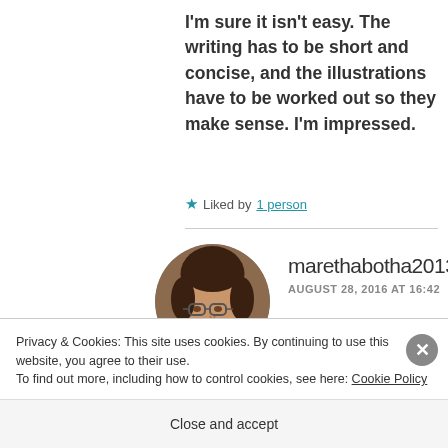I'm sure it isn't easy. The writing has to be short and concise, and the illustrations have to be worked out so they make sense. I'm impressed.
★ Liked by 1 person
marethabotha2013
AUGUST 28, 2016 AT 16:42
[Figure (photo): Round avatar photo of a woman with glasses and dark hair, wearing a purple top.]
Privacy & Cookies: This site uses cookies. By continuing to use this website, you agree to their use.
To find out more, including how to control cookies, see here: Cookie Policy
Close and accept